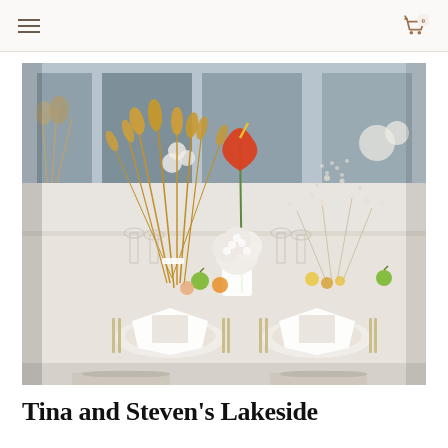Navigation header with hamburger menu and shopping cart (0 items)
[Figure (photo): Wedding reception table setting with white tablecloth, floral centerpieces including dried wheat grass, white hydrangeas, a single red anthurium, baby's breath, and place settings with white napkins and gold cutlery. Green apples and other fruits are scattered on the table. The background shows a blue-gray wall with more floral arrangements.]
Tina and Steven's Lakeside